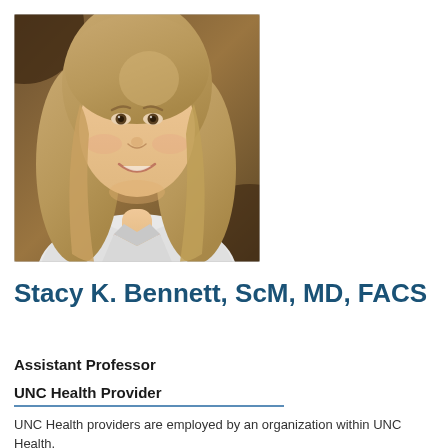[Figure (photo): Professional headshot of Stacy K. Bennett, a woman with long blonde hair wearing a white blazer and pearl necklace, smiling against a brown/gold background.]
Stacy K. Bennett, ScM, MD, FACS
Assistant Professor
UNC Health Provider
UNC Health providers are employed by an organization within UNC Health.